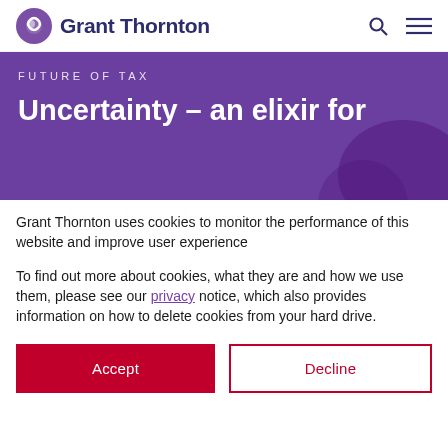Grant Thornton
FUTURE OF TAX
Uncertainty – an elixir for professional services
Grant Thornton uses cookies to monitor the performance of this website and improve user experience
To find out more about cookies, what they are and how we use them, please see our privacy notice, which also provides information on how to delete cookies from your hard drive.
Accept
Decline